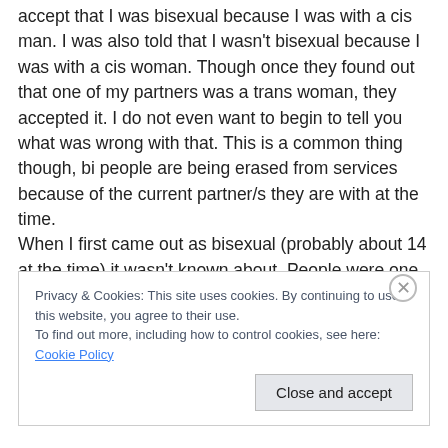accept that I was bisexual because I was with a cis man. I was also told that I wasn't bisexual because I was with a cis woman. Though once they found out that one of my partners was a trans woman, they accepted it. I do not even want to begin to tell you what was wrong with that. This is a common thing though, bi people are being erased from services because of the current partner/s they are with at the time.
When I first came out as bisexual (probably about 14 at the time) it wasn't known about. People were one or the other. In 14 years, I have noticed that peoples ideas are
Privacy & Cookies: This site uses cookies. By continuing to use this website, you agree to their use.
To find out more, including how to control cookies, see here: Cookie Policy